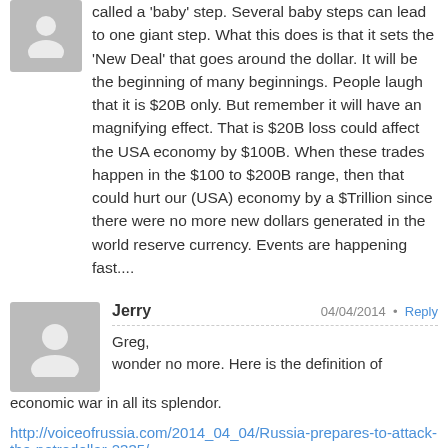called a 'baby' step. Several baby steps can lead to one giant step. What this does is that it sets the 'New Deal' that goes around the dollar. It will be the beginning of many beginnings. People laugh that it is $20B only. But remember it will have an magnifying effect. That is $20B loss could affect the USA economy by $100B. When these trades happen in the $100 to $200B range, then that could hurt our (USA) economy by a $Trillion since there were no more new dollars generated in the world reserve currency. Events are happening fast....
Jerry  04/04/2014 • Reply
Greg,
wonder no more. Here is the definition of economic war in all its splendor.
http://voiceofrussia.com/2014_04_04/Russia-prepares-to-attack-the-petrodollar-2335/
Speculation, is now fact. Greg do think this will be a prelude to war, or collapse .